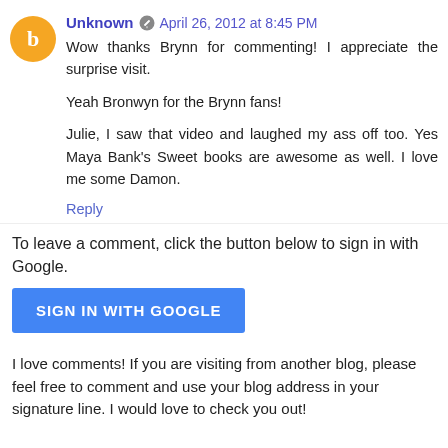Unknown  April 26, 2012 at 8:45 PM
Wow thanks Brynn for commenting! I appreciate the surprise visit.

Yeah Bronwyn for the Brynn fans!

Julie, I saw that video and laughed my ass off too. Yes Maya Bank's Sweet books are awesome as well. I love me some Damon.
Reply
To leave a comment, click the button below to sign in with Google.
SIGN IN WITH GOOGLE
I love comments! If you are visiting from another blog, please feel free to comment and use your blog address in your signature line. I would love to check you out!